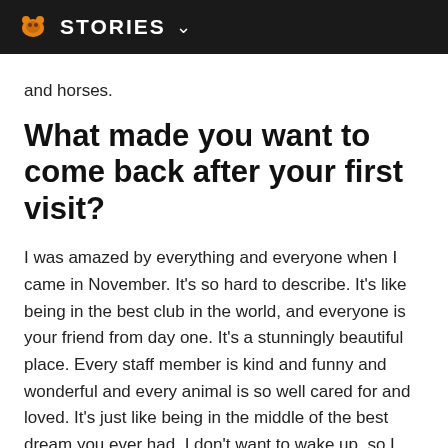STORIES
and horses.
What made you want to come back after your first visit?
I was amazed by everything and everyone when I came in November. It's so hard to describe. It's like being in the best club in the world, and everyone is your friend from day one. It's a stunningly beautiful place. Every staff member is kind and funny and wonderful and every animal is so well cared for and loved. It's just like being in the middle of the best dream you ever had. I don't want to wake up, so I think I will just